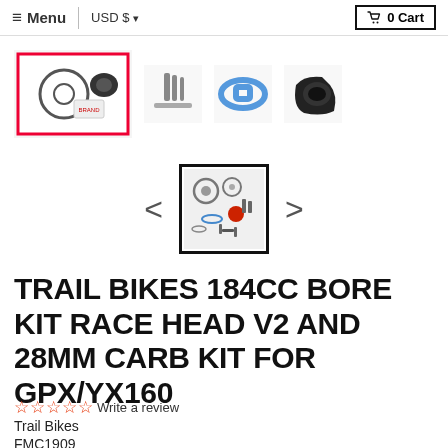≡ Menu  |  USD $  ▾      🛒 0 Cart
[Figure (photo): Product thumbnail images: gasket kit package, bolts/tools, blue gasket, rubber intake manifold boot]
[Figure (photo): Selected carousel thumbnail showing carburetor rebuild kit parts including jets, o-rings, and gaskets]
TRAIL BIKES 184CC BORE KIT RACE HEAD V2 AND 28MM CARB KIT FOR GPX/YX160
☆☆☆☆☆ Write a review
Trail Bikes
FMC1909